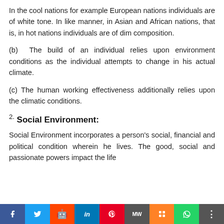In the cool nations for example European nations individuals are of white tone. In like manner, in Asian and African nations, that is, in hot nations individuals are of dim composition.
(b) The build of an individual relies upon environment conditions as the individual attempts to change in his actual climate.
(c) The human working effectiveness additionally relies upon the climatic conditions.
2. Social Environment:
Social Environment incorporates a person's social, financial and political condition wherein he lives. The good, social and passionate powers impact the life